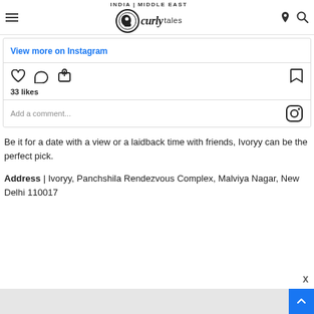Curly Tales — INDIA | MIDDLE EAST
[Figure (screenshot): Instagram embed widget showing 'View more on Instagram' link, like/comment/share icons, 33 likes count, and 'Add a comment...' input with Instagram logo]
Be it for a date with a view or a laidback time with friends, Ivoryy can be the perfect pick.
Address | Ivoryy, Panchshila Rendezvous Complex, Malviya Nagar, New Delhi 110017